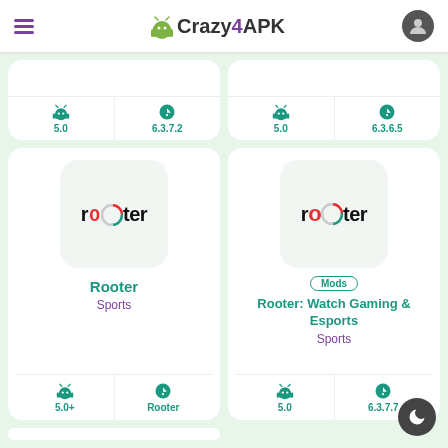Crazy4APK
[Figure (screenshot): Partial app card top row showing Android 5.0 and version 6.3.7.2 on left, Android 5.0 and version 6.3.6.5 on right]
[Figure (screenshot): Rooter app card - Sports category, Android 5.0+, version Rooter]
[Figure (screenshot): Rooter: Watch Gaming & Esports app card - Mods badge, Sports category, Android 5.0, version 6.3.7.7]
[Figure (screenshot): Partial bottom app cards row]